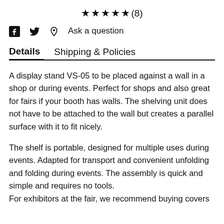★★★★★(8)
🔲 🐦 📌  Ask a question
Details   Shipping & Policies
A display stand VS-05 to be placed against a wall in a shop or during events. Perfect for shops and also great for fairs if your booth has walls. The shelving unit does not have to be attached to the wall but creates a parallel surface with it to fit nicely.
The shelf is portable, designed for multiple uses during events. Adapted for transport and convenient unfolding and folding during events. The assembly is quick and simple and requires no tools.
For exhibitors at the fair, we recommend buying covers